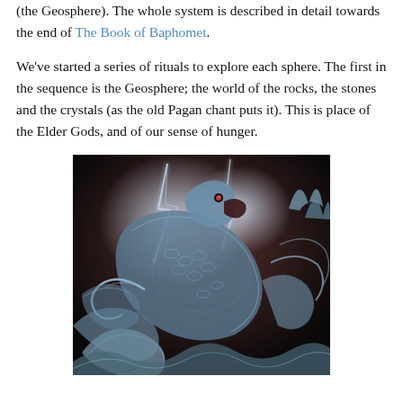(the Geosphere). The whole system is described in detail towards the end of The Book of Baphomet.
We've started a series of rituals to explore each sphere. The first in the sequence is the Geosphere; the world of the rocks, the stones and the crystals (as the old Pagan chant puts it). This is place of the Elder Gods, and of our sense of hunger.
[Figure (illustration): A dramatic dark fantasy illustration of a serpentine dragon or sea creature with scales and tentacle-like appendages, rendered in blue-grey metallic tones with lightning effects in the background.]